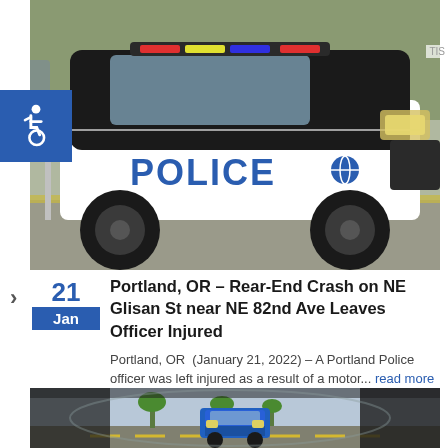[Figure (photo): Black and white police SUV with 'POLICE' text and number 632, parked outdoors]
[Figure (logo): Blue accessibility wheelchair icon badge]
Portland, OR – Rear-End Crash on NE Glisan St near NE 82nd Ave Leaves Officer Injured
Portland, OR  (January 21, 2022) – A Portland Police officer was left injured as a result of a motor... read more ›
[Figure (photo): Blue truck seen in car side mirror reflection]